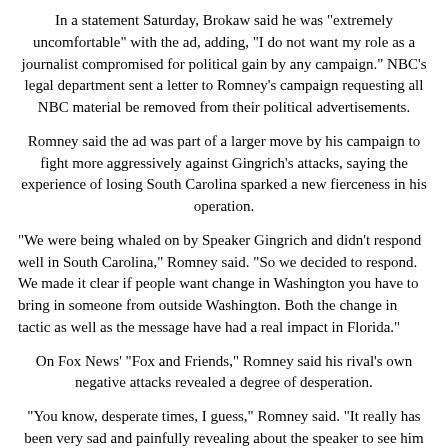In a statement Saturday, Brokaw said he was "extremely uncomfortable" with the ad, adding, "I do not want my role as a journalist compromised for political gain by any campaign." NBC's legal department sent a letter to Romney's campaign requesting all NBC material be removed from their political advertisements.
Romney said the ad was part of a larger move by his campaign to fight more aggressively against Gingrich's attacks, saying the experience of losing South Carolina sparked a new fierceness in his operation.
"We were being whaled on by Speaker Gingrich and didn't respond well in South Carolina," Romney said. "So we decided to respond. We made it clear if people want change in Washington you have to bring in someone from outside Washington. Both the change in tactic as well as the message have had a real impact in Florida."
On Fox News' "Fox and Friends," Romney said his rival's own negative attacks revealed a degree of desperation.
"You know, desperate times, I guess," Romney said. "It really has been very sad and painfully revealing about the speaker to see him railing on like this. It helps us understand why it is that of the hundreds of people that worked with him as speaker, only a handful are willing to support him."